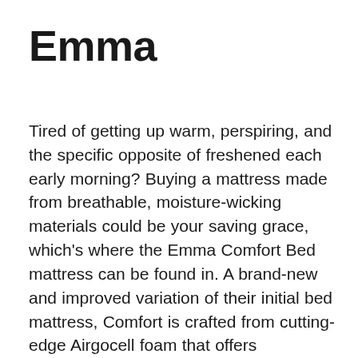Emma
Tired of getting up warm, perspiring, and the specific opposite of freshened each early morning? Buying a mattress made from breathable, moisture-wicking materials could be your saving grace, which’s where the Emma Comfort Bed mattress can be found in. A brand-new and improved variation of their initial bed mattress, Comfort is crafted from cutting-edge Airgocell foam that offers substantial stress factor relief and also is extremely soft to the touch. New features based on client responses include softer comfort layers that adjust to your body shape, stronger support for optimum spinal